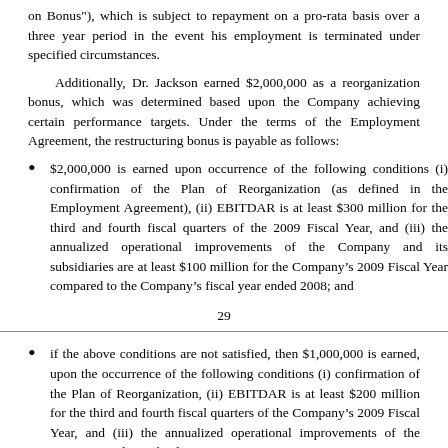on Bonus"), which is subject to repayment on a pro-rata basis over a three year period in the event his employment is terminated under specified circumstances.
Additionally, Dr. Jackson earned $2,000,000 as a reorganization bonus, which was determined based upon the Company achieving certain performance targets. Under the terms of the Employment Agreement, the restructuring bonus is payable as follows:
$2,000,000 is earned upon occurrence of the following conditions (i) confirmation of the Plan of Reorganization (as defined in the Employment Agreement), (ii) EBITDAR is at least $300 million for the third and fourth fiscal quarters of the 2009 Fiscal Year, and (iii) the annualized operational improvements of the Company and its subsidiaries are at least $100 million for the Company’s 2009 Fiscal Year compared to the Company’s fiscal year ended 2008; and
29
if the above conditions are not satisfied, then $1,000,000 is earned, upon the occurrence of the following conditions (i) confirmation of the Plan of Reorganization, (ii) EBITDAR is at least $200 million for the third and fourth fiscal quarters of the Company’s 2009 Fiscal Year, and (iii) the annualized operational improvements of the Company and its subsidiaries